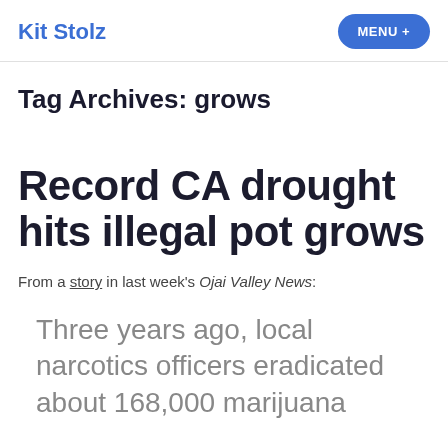Kit Stolz
Tag Archives: grows
Record CA drought hits illegal pot grows
From a story in last week's Ojai Valley News:
Three years ago, local narcotics officers eradicated about 168,000 marijuana